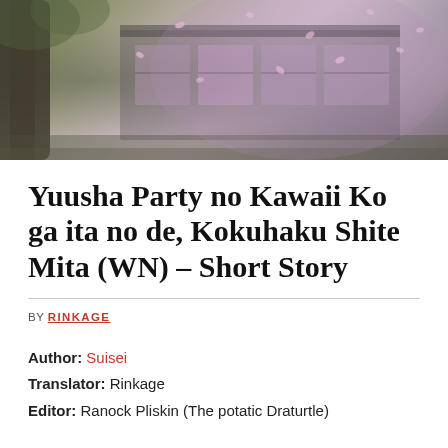[Figure (illustration): Anime-style banner illustration showing a Japanese building/shrine exterior with cherry blossom petals falling, a large tree trunk on the left, and soft purple-pink atmospheric lighting.]
Yuusha Party no Kawaii Ko ga ita no de, Kokuhaku Shite Mita (WN) – Short Story
BY RINKAGE
Author: Suisei
Translator: Rinkage
Editor: Ranock Pliskin (The potatic Draturtle)